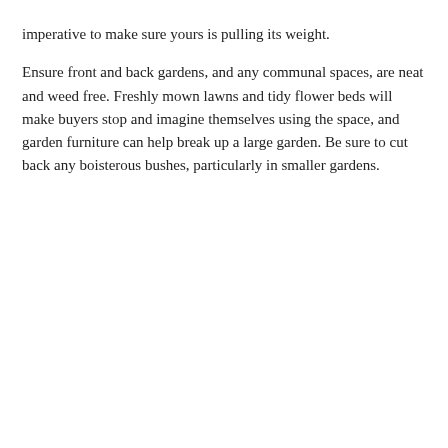imperative to make sure yours is pulling its weight.

Ensure front and back gardens, and any communal spaces, are neat and weed free. Freshly mown lawns and tidy flower beds will make buyers stop and imagine themselves using the space, and garden furniture can help break up a large garden. Be sure to cut back any boisterous bushes, particularly in smaller gardens.
[Figure (screenshot): Cookie consent modal dialog with title 'Cookie use on this site', body text about cookies, two buttons 'Accept All Cookies' and 'Reject All', and a 'Cookies Settings' button.]